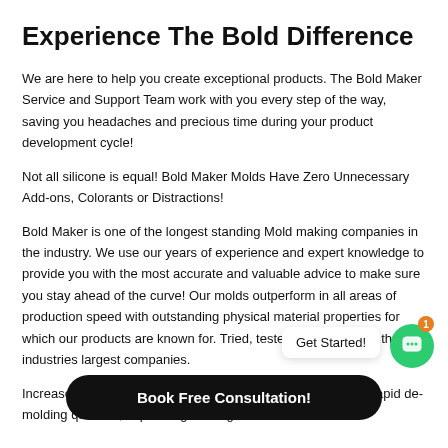Experience The Bold Difference
We are here to help you create exceptional products. The Bold Maker Service and Support Team work with you every step of the way, saving you headaches and precious time during your product development cycle!
Not all silicone is equal! Bold Maker Molds Have Zero Unnecessary Add-ons, Colorants or Distractions!
Bold Maker is one of the longest standing Mold making companies in the industry. We use our years of experience and expert knowledge to provide you with the most accurate and valuable advice to make sure you stay ahead of the curve! Our molds outperform in all areas of production speed with outstanding physical material properties for which our products are known for. Tried, tested and trusted by the industries largest companies.
Increase your production times and production volume. With rapid de-molding qualities, expert engineering